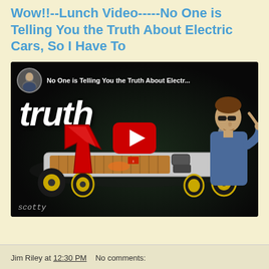Wow!!--Lunch Video-----No One is Telling You the Truth About Electric Cars, So I Have To
[Figure (screenshot): YouTube video thumbnail/embed showing an electric car chassis with battery pack, a red arrow pointing at the battery, large white italic text 'truth', a person (Scotty Kilmer) on the right side with sunglasses pointing at the car, a circular avatar in top-left corner, video title text at top, YouTube play button in center, and 'scotty' watermark in bottom-left.]
Jim Riley at 12:30 PM   No comments: